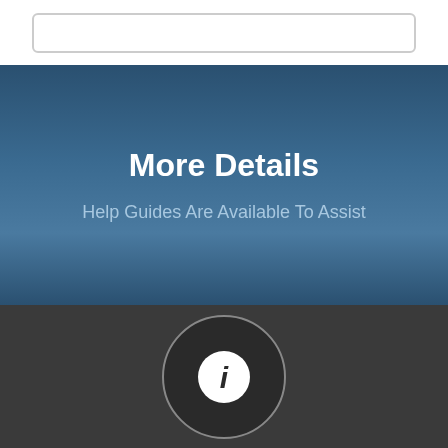[Figure (screenshot): Search bar input field with rounded border at top of page]
More Details
Help Guides Are Available To Assist
[Figure (illustration): Information icon button - circular dark button with white 'i' symbol, on dark grey background]